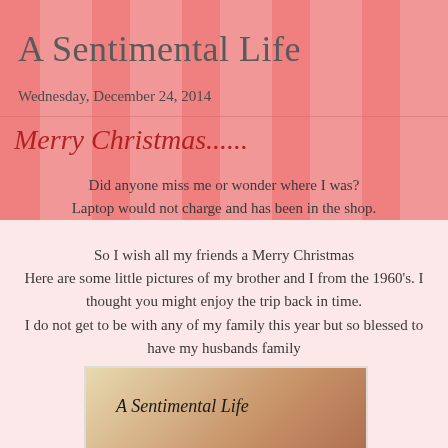A Sentimental Life
Wednesday, December 24, 2014
Merry Christmas......
Did anyone miss me or wonder where I was?
Laptop would not charge and has been in the shop.

So I wish all my friends a Merry Christmas
Here are some little pictures of my brother and I from the 1960's. I thought you might enjoy the trip back in time.
I do not get to be with any of my family this year but so blessed to have my husbands family
[Figure (photo): A vintage photo or card with cursive text reading 'A Sentimental Life' on a reddish-brown background with curtain or light fabric visible]